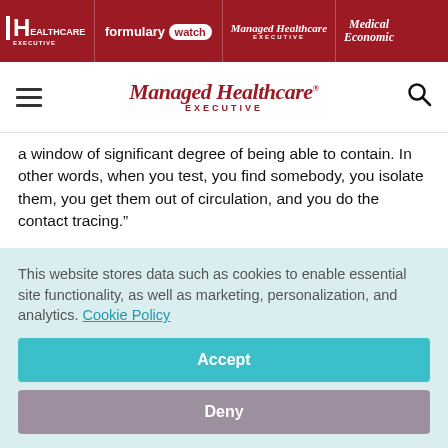HEALTHCARE EXECUTIVE | formulary watch | Managed Healthcare EXECUTIVE | Medical Economics
[Figure (logo): Managed Healthcare Executive navigation bar with hamburger menu and search icon]
a window of significant degree of being able to contain. In other words, when you test, you find somebody, you isolate them, you get them out of circulation, and you do the contact tracing.”
It’s not just the antimalarials. Other treatments are in the pipeline
This website stores data such as cookies to enable essential site functionality, as well as marketing, personalization, and analytics. Cookie Policy
Accept
Deny